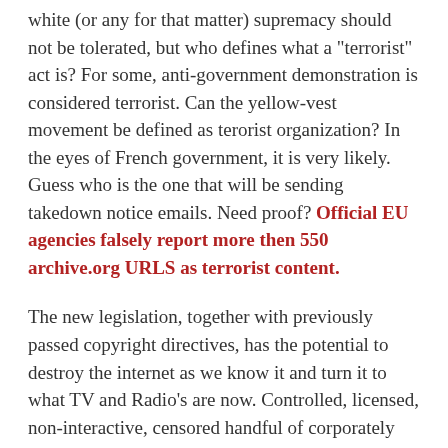white (or any for that matter) supremacy should not be tolerated, but who defines what a "terrorist" act is? For some, anti-government demonstration is considered terrorist. Can the yellow-vest movement be defined as terorist organization? In the eyes of French government, it is very likely. Guess who is the one that will be sending takedown notice emails. Need proof? Official EU agencies falsely report more then 550 archive.org URLS as terrorist content.
The new legislation, together with previously passed copyright directives, has the potential to destroy the internet as we know it and turn it to what TV and Radio's are now. Controlled, licensed, non-interactive, censored handful of corporately and governmentally owned websites and services. While the copyright directive potentially doesn't affect non-profits, who get to escapes the imposed content filters, those are being